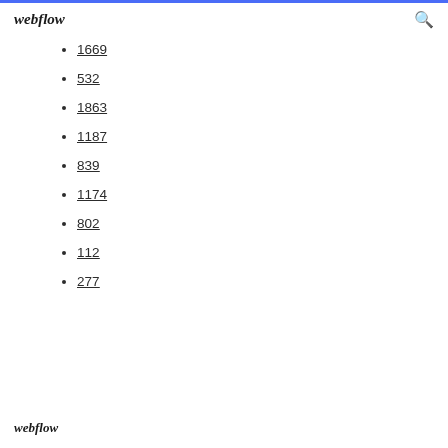webflow
1669
532
1863
1187
839
1174
802
112
277
webflow